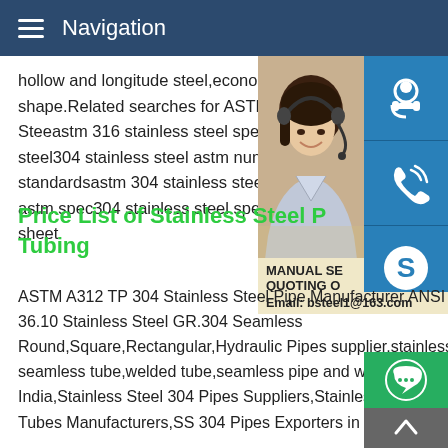Navigation
hollow and longitude steel,economic steel shape.Related searches for ASTM 304 31 Steeastm 316 stainless steel specification steel304 stainless steel astm number304 s standardsastm 304 stainless steel specifi astm spec304 stainless steel specification sheet
[Figure (photo): Customer service representative (woman with headset) with blue icon buttons for support, phone, and Skype on the right side. Banner shows 'MANUAL SE... QUOTING O... Email: bsteel1@163.com']
Price List of Stainless Steel P Tubing
ASTM A312 TP 304 Stainless Steel Pipe Manufacturer ANSI B 36.10 Stainless Steel GR.304 Seamless Round,Square,Rectangular,Hydraulic Pipes supplier,stainless steel seamless tube,welded tube,seamless pipe and welded pipe in India,Stainless Steel 304 Pipes Suppliers,Stainless Steel 304 Tubes Manufacturers,SS 304 Pipes Exporters in India People